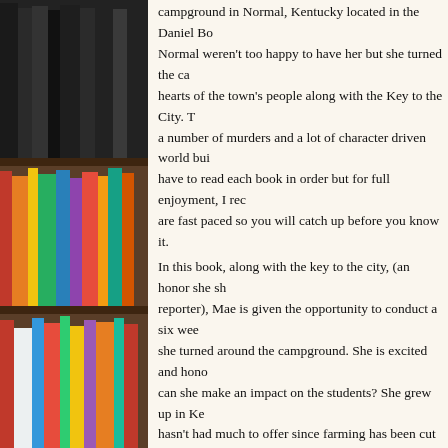[Figure (photo): Photo of bookshelves with colorful books arranged on wooden shelves, occupying the left portion of the page.]
campground in Normal, Kentucky located in the Daniel Bo... Normal weren't too happy to have her but she turned the ca... hearts of the town's people along with the Key to the City. T... a number of murders and a lot of character driven world bui... have to read each book in order but for full enjoyment, I rec... are fast paced so you will catch up before you know it.
In this book, along with the key to the city, (an honor she sh... reporter), Mae is given the opportunity to conduct a six wee... she turned around the campground. She is excited and hono... can she make an impact on the students? She grew up in Ke... hasn't had much to offer since farming has been cut down a... knows what it is like to be in high school facing slim opport... leave. Which is exactly what she had done only to return, w...
She knows she can do this but then she finds the dead body... rental trailers. Now the body count is rising and the lead inv... "eyes and ears" at the school for him, not to mention there s... love competition!
The story is intriguing and fast paced. It is easy to get lost i... in one sitting. It is possible to do this as time flies when you... wrapped up in each book. There are background storylines t... aren't so big, though, that you can't follow the story if you...